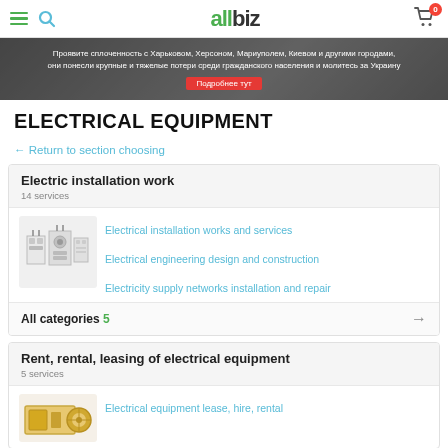allbiz
[Figure (photo): Banner image with dark background showing text in Russian about solidarity with Ukrainian cities, with a red button 'Подробнее тут']
ELECTRICAL EQUIPMENT
← Return to section choosing
Electric installation work
14 services
Electrical installation works and services
Electrical engineering design and construction
Electricity supply networks installation and repair
All categories 5
Rent, rental, leasing of electrical equipment
5 services
Electrical equipment lease, hire, rental